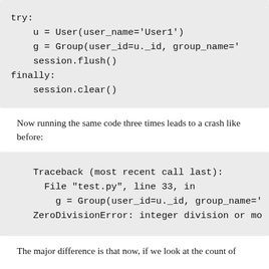[Figure (other): Code block showing try/finally Python code with u = User(user_name='User1'), g = Group(...), session.flush(), finally: session.clear()]
Now running the same code three times leads to a crash like before:
[Figure (other): Code block showing Traceback (most recent call last): File "test.py", line 33, in g = Group(user_id=u._id, group_name=' ZeroDivisionError: integer division or mo]
The major difference is that now, if we look at the count of